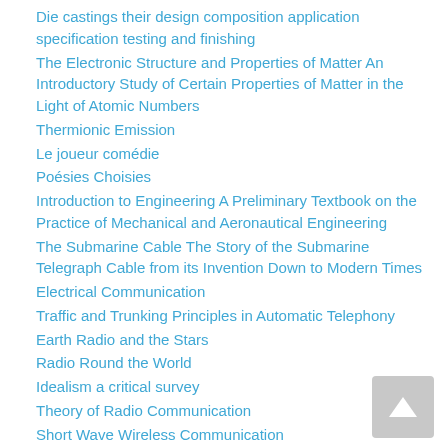Die castings their design composition application specification testing and finishing
The Electronic Structure and Properties of Matter An Introductory Study of Certain Properties of Matter in the Light of Atomic Numbers
Thermionic Emission
Le joueur comédie
Poésies Choisies
Introduction to Engineering A Preliminary Textbook on the Practice of Mechanical and Aeronautical Engineering
The Submarine Cable The Story of the Submarine Telegraph Cable from its Invention Down to Modern Times
Electrical Communication
Traffic and Trunking Principles in Automatic Telephony
Earth Radio and the Stars
Radio Round the World
Idealism a critical survey
Theory of Radio Communication
Short Wave Wireless Communication
Principles of Radio Communication
Portland cement
Elementary mathematical astronomy